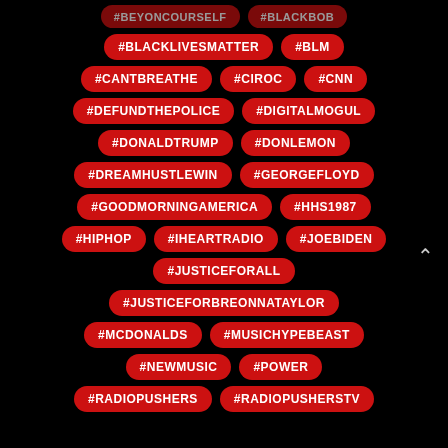[Figure (infographic): A tag cloud of hashtags on a black background. Each hashtag is displayed as a red pill/badge with white bold uppercase text. Hashtags include: #BEYONCOURSELF, #BLACKBOB, #BLACKLIVESMATTER, #BLM, #CANTBREATHE, #CIROC, #CNN, #DEFUNDTHEPOLICE, #DIGITALMOGUL, #DONALDTRUMP, #DONLEMON, #DREAMHUSTLEWIN, #GEORGEFLOYD, #GOODMORNINGAMERICA, #HHS1987, #HIPHOP, #IHEARTRADIO, #JOEBIDEN, #JUSTICEFORALL, #JUSTICEFORBREONNATAYLOR, #MCDONALDS, #MUSICHYPEBEAST, #NEWMUSIC, #POWER, #RADIOPUSHERS, #RADIOPUSHERSTV]